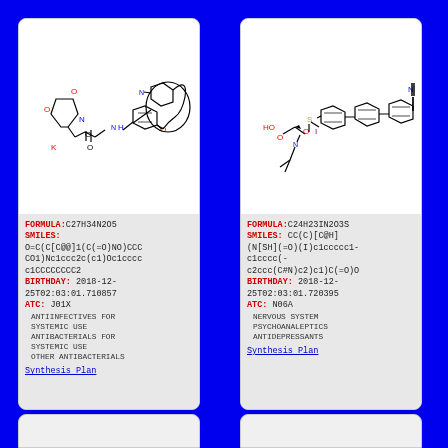[Figure (schematic): Chemical structure drawing of molecule with formula C27H34N2O5, containing morpholine ring, amide linkage, benzazepine ring system]
FORMULA:C27H34N2O5
SMILES:
O=C(C[C@@]1(C(=O)NO)CCC CO1)Nc1ccc2c(c1)Oc1ccccc1CCCCCCCC2
BIRTHDAY: 2018-12-25T02:03:01.710857
ATC: J01X
ANTIINFECTIVES FOR SYSTEMIC USE
ANTIBACTERIALS FOR SYSTEMIC USE
OTHER ANTIBACTERIALS
Synthesis Plan
[Figure (schematic): Chemical structure drawing of molecule with formula C24H23IN2O3S, containing iodine, sulfonyl group, biphenyl ring with cyano group]
FORMULA:C24H23IN2O3S
SMILES: CC(C)[C@H](N[SH](=O)(I)c1ccccc1-c1cccc(-c2ccc(C#N)c2)c1)C(=O)O
BIRTHDAY: 2018-12-25T02:03:01.720395
ATC: N06A
NERVOUS SYSTEM
PSYCHOANALEPTICS
ANTIDEPRESSANTS
Synthesis Plan